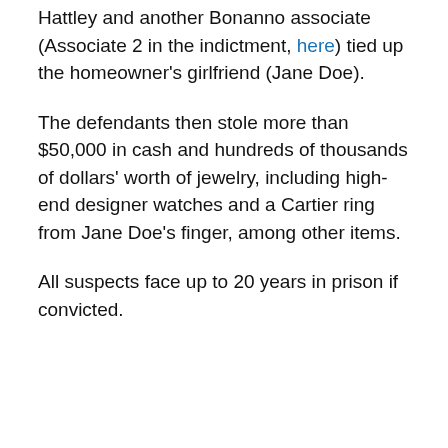Hattley and another Bonanno associate (Associate 2 in the indictment, here) tied up the homeowner's girlfriend (Jane Doe).
The defendants then stole more than $50,000 in cash and hundreds of thousands of dollars' worth of jewelry, including high-end designer watches and a Cartier ring from Jane Doe's finger, among other items.
All suspects face up to 20 years in prison if convicted.